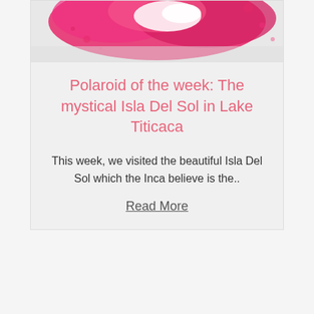[Figure (illustration): Pink watercolor splash / map illustration on a light gray background, partially cropped at the top]
Polaroid of the week: The mystical Isla Del Sol in Lake Titicaca
This week, we visited the beautiful Isla Del Sol which the Inca believe is the..
Read More